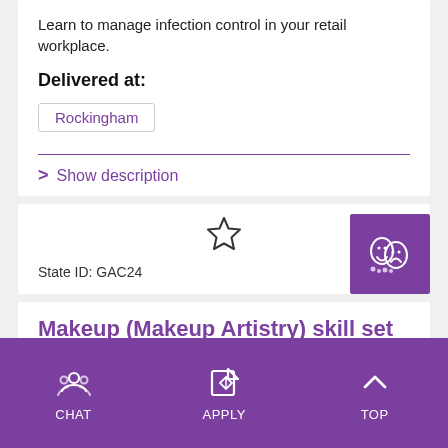Learn to manage infection control in your retail workplace.
Delivered at:
Rockingham
Show description
State ID: GAC24
Makeup (Makeup Artistry) skill set
This course enables you to work as a freelance makeup artist or in a hair or beauty salon performing makeup.